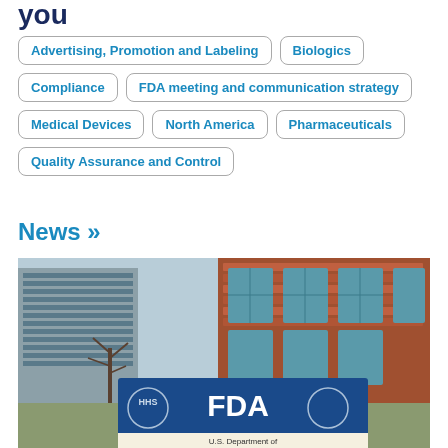you
Advertising, Promotion and Labeling
Biologics
Compliance
FDA meeting and communication strategy
Medical Devices
North America
Pharmaceuticals
Quality Assurance and Control
News »
[Figure (photo): Exterior photo of FDA building with a blue sign reading 'FDA' and 'U.S. Department of Health and Human Services' in front of a brick and glass office building]